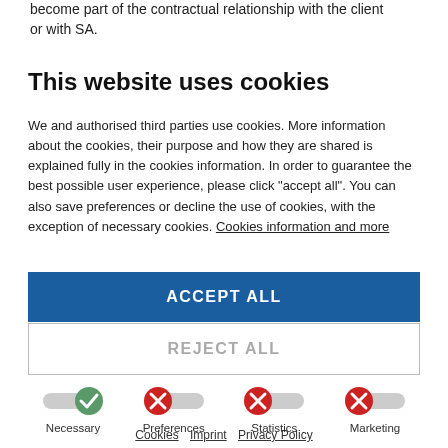become part of the contractual relationship with the client or with SA.
This website uses cookies
We and authorised third parties use cookies. More information about the cookies, their purpose and how they are shared is explained fully in the cookies information. In order to guarantee the best possible user experience, please click "accept all". You can also save preferences or decline the use of cookies, with the exception of necessary cookies. Cookies information and more
ACCEPT ALL
REJECT ALL
[Figure (infographic): Four toggle switches labeled Necessary (on/checked), Preferences (off/X), Statistics (off/X), Marketing (off/X)]
Cookies   Imprint   Privacy Policy